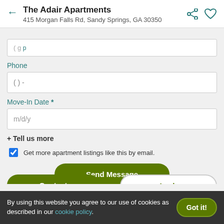The Adair Apartments
415 Morgan Falls Rd, Sandy Springs, GA 30350
( ) -
Phone
( ) -
Move-In Date *
m/d/y
+ Tell us more
Get more apartment listings like this by email.
Send Message
Contact
Apply
reCAPTCHA and Terms of Service apply.
By using this website you agree to our use of cookies as described in our cookie policy.